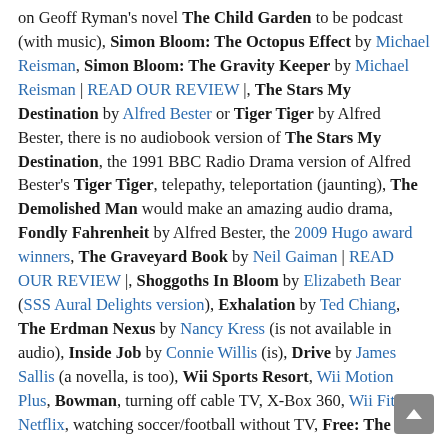on Geoff Ryman's novel The Child Garden to be podcast (with music), Simon Bloom: The Octopus Effect by Michael Reisman, Simon Bloom: The Gravity Keeper by Michael Reisman | READ OUR REVIEW |, The Stars My Destination by Alfred Bester or Tiger Tiger by Alfred Bester, there is no audiobook version of The Stars My Destination, the 1991 BBC Radio Drama version of Alfred Bester's Tiger Tiger, telepathy, teleportation (jaunting), The Demolished Man would make an amazing audio drama, Fondly Fahrenheit by Alfred Bester, the 2009 Hugo award winners, The Graveyard Book by Neil Gaiman | READ OUR REVIEW |, Shoggoths In Bloom by Elizabeth Bear (SSS Aural Delights version), Exhalation by Ted Chiang, The Erdman Nexus by Nancy Kress (is not available in audio), Inside Job by Connie Willis (is), Drive by James Sallis (a novella, is too), Wii Sports Resort, Wii Motion Plus, Bowman, turning off cable TV, X-Box 360, Wii Fit, Netflix, watching soccer/football without TV, Free: The